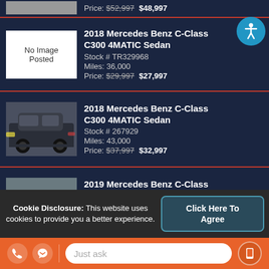Price: $52,997  $48,997
2018 Mercedes Benz C-Class C300 4MATIC Sedan
Stock # TR329968
Miles: 36,000
Price: $29,997  $27,997
2018 Mercedes Benz C-Class C300 4MATIC Sedan
Stock # 267929
Miles: 43,000
Price: $37,997  $32,997
2019 Mercedes Benz C-Class C300: Sedan
Stock # 297577
Miles: 32,000
Price: $38,997  $35,997
Cookie Disclosure: This website uses cookies to provide you a better experience.
Click Here To Agree
Just ask